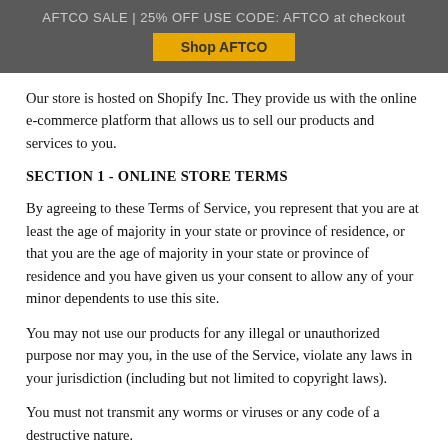AFTCO SALE | 25% OFF USE CODE: AFTCO at checkout
Our store is hosted on Shopify Inc. They provide us with the online e-commerce platform that allows us to sell our products and services to you.
SECTION 1 - ONLINE STORE TERMS
By agreeing to these Terms of Service, you represent that you are at least the age of majority in your state or province of residence, or that you are the age of majority in your state or province of residence and you have given us your consent to allow any of your minor dependents to use this site.
You may not use our products for any illegal or unauthorized purpose nor may you, in the use of the Service, violate any laws in your jurisdiction (including but not limited to copyright laws).
You must not transmit any worms or viruses or any code of a destructive nature.